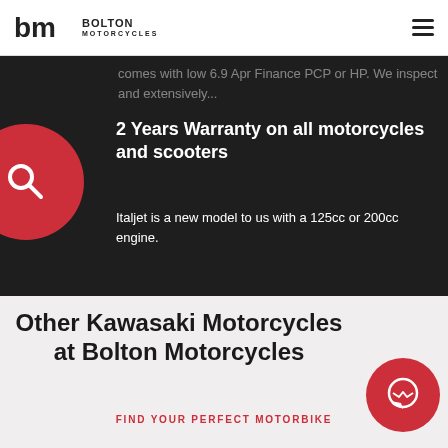[Figure (logo): Bolton Motorcycles logo with 'bm' monogram and text 'BOLTON MOTORCYCLES']
comes with low 6.9 Apr Finance PCP or HP. We inspect and extensively...
2 Years Warranty on all motorcycles and scooters
Italjet is a new model to us with a 125cc or 200cc engine.
Other Kawasaki Motorcycles at Bolton Motorcycles
FIND YOUR PERFECT MOTORBIKE